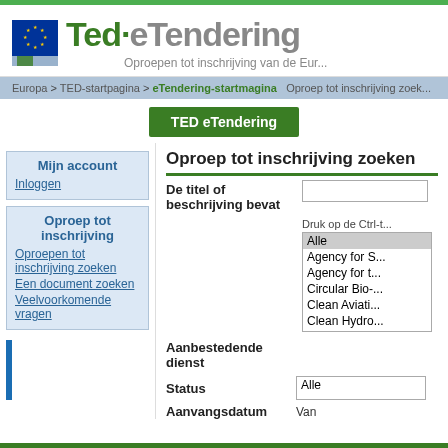TED·eTendering — Oproepen tot inschrijving van de Eur...
Europa > TED-startpagina > eTendering-startmagina  Oproep tot inschrijving zoek...
TED eTendering
Mijn account
Inloggen
Oproep tot inschrijving
Oproepen tot inschrijving zoeken
Een document zoeken
Veelvoorkomende vragen
Oproep tot inschrijving zoeken
De titel of beschrijving bevat
Druk op de Ctrl-t...
Aanbestedende dienst
| Alle |
| Agency for S... |
| Agency for t... |
| Circular Bio-... |
| Clean Aviati... |
| Clean Hydro... |
Status
Alle
Aanvangsdatum
Van